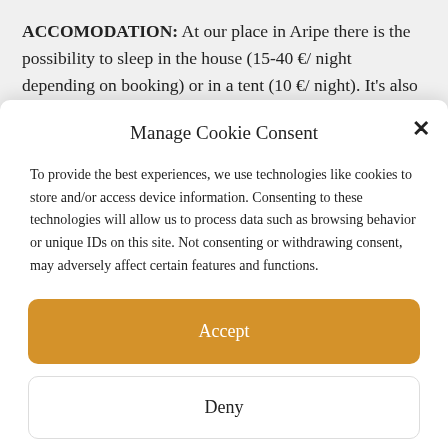ACCOMODATION: At our place in Aripe there is the possibility to sleep in the house (15-40 €/ night depending on booking) or in a tent (10 €/ night). It's also possible to book an accomodation
Manage Cookie Consent
To provide the best experiences, we use technologies like cookies to store and/or access device information. Consenting to these technologies will allow us to process data such as browsing behavior or unique IDs on this site. Not consenting or withdrawing consent, may adversely affect certain features and functions.
Accept
Deny
View preferences
Cookie Policy   Privacy Statement   Impressum